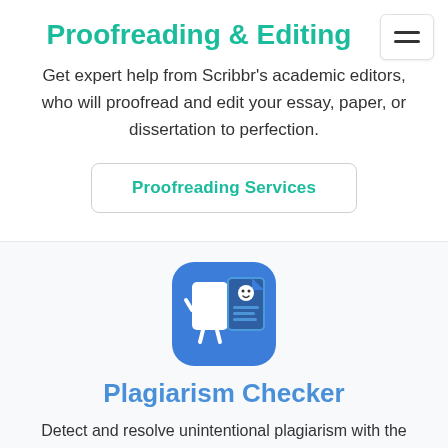Proofreading & Editing
Get expert help from Scribbr's academic editors, who will proofread and edit your essay, paper, or dissertation to perfection.
Proofreading Services
[Figure (illustration): Blue rounded square icon featuring two cartoon document characters — a blank white page and a document with text lines and a smiley face — resembling a plagiarism checker app icon.]
Plagiarism Checker
Detect and resolve unintentional plagiarism with the